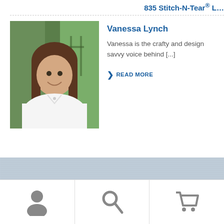835 Stitch-N-Tear® L…
[Figure (photo): Portrait photo of Vanessa Lynch, a woman with long brown hair wearing a white top, outdoors with greenery in background]
Vanessa Lynch
Vanessa is the crafty and design savvy voice behind [...]
❯ READ MORE
ABOUT US
Pellon® Brands
Contact
PROJECTS
by Project Type
by Skills
PRODUCTS
Interfacing
Batting
Fusible Webs & Adhesives
Elastics
[Figure (illustration): User/person icon (silhouette)]
[Figure (illustration): Search/magnifying glass icon]
[Figure (illustration): Shopping cart icon]